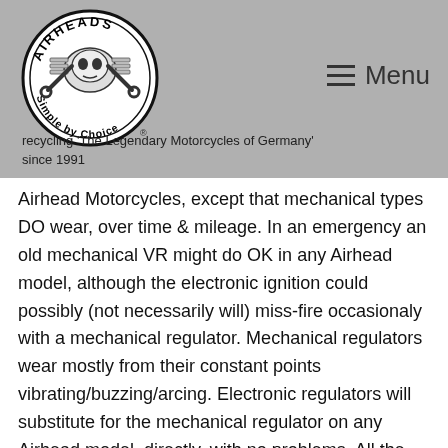[Figure (logo): Airheads circular logo with text 'AIRHEADS' at top, 'Simple by Choice' at bottom, and a motorcycle engine illustration in the center, with registered trademark symbol]
≡  Menu
recycling 'The Legendary Motorcycles of Germany' since 1991
Airhead Motorcycles, except that mechanical types DO wear, over time & mileage. In an emergency an old mechanical VR might do OK in any Airhead model, although the electronic ignition could possibly (not necessarily will) miss-fire occasionaly with a mechanical regulator. Mechanical regulators wear mostly from their constant points vibrating/buzzing/arcing. Electronic regulators will substitute for the mechanical regulator on any Airhead model, directly, with no problems. All the mechanical regulators were inside of tall metal cans. Later voltage regulators were electronic; but the early electronics versions ALSO were in